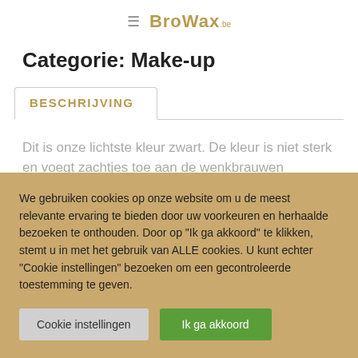≡ BroWax.be
Categorie: Make-up
BESCHRIJVING
Dit is onze lichtste kleur zwart. De kleur is niet sterk en voegt zachtjes toe aan de wenkbrauwen waardoor een natuurlijk effect ontstaat.
We gebruiken cookies op onze website om u de meest relevante ervaring te bieden door uw voorkeuren en herhaalde bezoeken te onthouden. Door op "Ik ga akkoord" te klikken, stemt u in met het gebruik van ALLE cookies. U kunt echter "Cookie instellingen" bezoeken om een gecontroleerde toestemming te geven.
Cookie instellingen
Ik ga akkoord